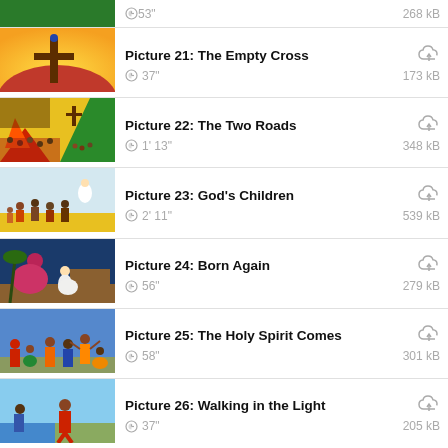53" | 268 kB (partial row)
Picture 21: The Empty Cross | 37" | 173 kB
Picture 22: The Two Roads | 1’ 13" | 348 kB
Picture 23: God’s Children | 2’ 11" | 539 kB
Picture 24: Born Again | 56" | 279 kB
Picture 25: The Holy Spirit Comes | 58" | 301 kB
Picture 26: Walking in the Light | 37" | 205 kB